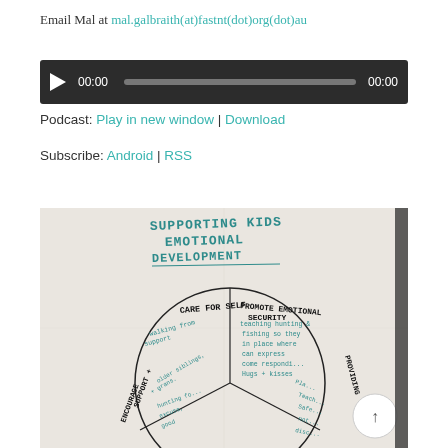Email Mal at mal.galbraith(at)fastnt(dot)org(dot)au
[Figure (screenshot): Audio player widget with play button, progress bar showing 00:00 time on dark background]
Podcast: Play in new window | Download
Subscribe: Android | RSS
[Figure (photo): Photograph of a hand-drawn whiteboard/paper showing a circle diagram titled 'Supporting Kids Emotional Development' with segments including 'Care for Self', 'Promote Emotional Security', 'Support + Encourage', and handwritten notes in teal/green marker]